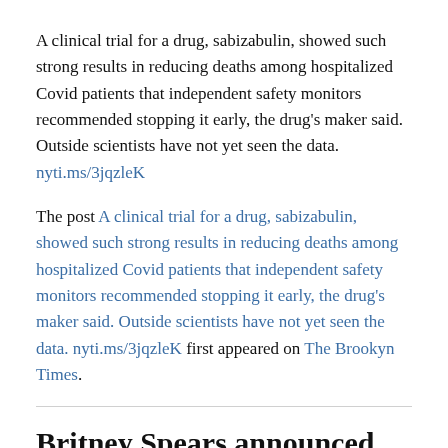A clinical trial for a drug, sabizabulin, showed such strong results in reducing deaths among hospitalized Covid patients that independent safety monitors recommended stopping it early, the drug's maker said. Outside scientists have not yet seen the data. nyti.ms/3jqzleK
The post A clinical trial for a drug, sabizabulin, showed such strong results in reducing deaths among hospitalized Covid patients that independent safety monitors recommended stopping it early, the drug's maker said. Outside scientists have not yet seen the data. nyti.ms/3jqzleK first appeared on The Brookyn Times.
Britney Spears announced on Monday that she is pregnant,